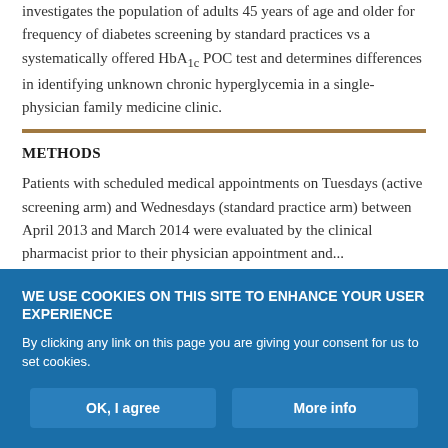investigates the population of adults 45 years of age and older for frequency of diabetes screening by standard practices vs a systematically offered HbA1c POC test and determines differences in identifying unknown chronic hyperglycemia in a single-physician family medicine clinic.
METHODS
Patients with scheduled medical appointments on Tuesdays (active screening arm) and Wednesdays (standard practice arm) between April 2013 and March 2014 were evaluated by the clinical pharmacist prior to their physician appointment and...
WE USE COOKIES ON THIS SITE TO ENHANCE YOUR USER EXPERIENCE

By clicking any link on this page you are giving your consent for us to set cookies.